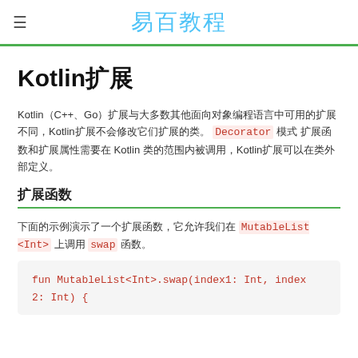≡  易百教程
Kotlin扩展
Kotlin（C++、Go）扩展与大多数其他面向对象编程语言中可用的扩展不同，Kotlin扩展不会修改它们扩展的类。 Decorator 模式 扩展函数和扩展属性需要在 Kotlin 类的范围内被调用，Kotlin扩展可以在类外部定义。
扩展函数
下面的示例演示了一个扩展函数，它允许我们在 MutableList <Int> 上调用 swap 函数。
[Figure (screenshot): Code block showing: fun MutableList<Int>.swap(index1: Int, index2: Int) {]